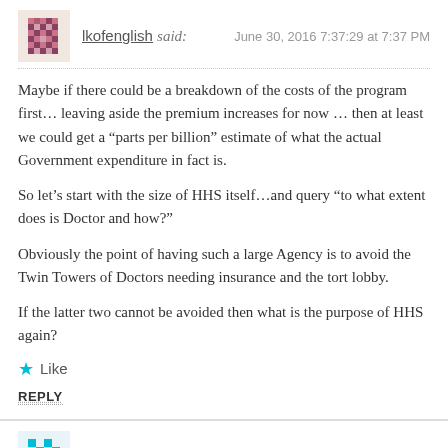lkofenglish said: June 30, 2016 7:37:29 at 7:37 PM
Maybe if there could be a breakdown of the costs of the program first… leaving aside the premium increases for now … then at least we could get a “parts per billion” estimate of what the actual Government expenditure in fact is.
So let’s start with the size of HHS itself…and query “to what extent does is Doctor and how?”
Obviously the point of having such a large Agency is to avoid the Twin Towers of Doctors needing insurance and the tort lobby.
If the latter two cannot be avoided then what is the purpose of HHS again?
Like
REPLY
Shamrock said: June 30, 2016 7:49:44 at 7:49 PM